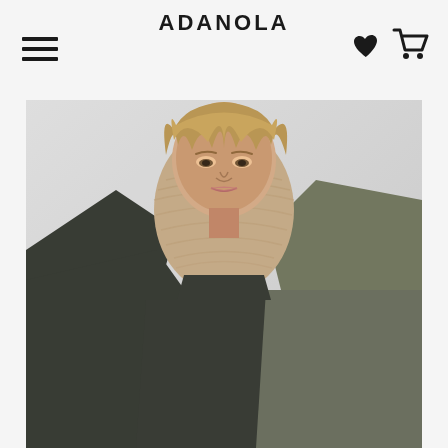ADANOLA
[Figure (photo): A woman wearing a dark olive/charcoal long-sleeve fitted top and a beige/tan ribbed knit balaclava/neck warmer, with her arms raised above her head, photographed against a light grey background.]